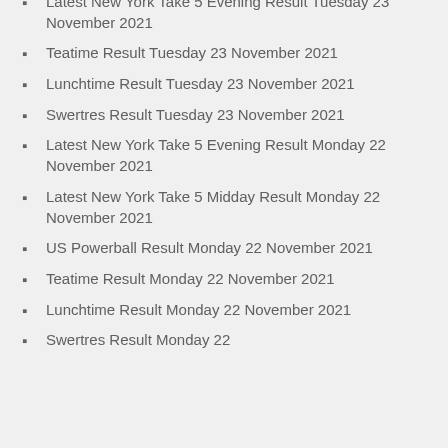Latest New York Take 5 Evening Result Tuesday 23 November 2021
Teatime Result Tuesday 23 November 2021
Lunchtime Result Tuesday 23 November 2021
Swertres Result Tuesday 23 November 2021
Latest New York Take 5 Evening Result Monday 22 November 2021
Latest New York Take 5 Midday Result Monday 22 November 2021
US Powerball Result Monday 22 November 2021
Teatime Result Monday 22 November 2021
Lunchtime Result Monday 22 November 2021
Swertres Result Monday 22